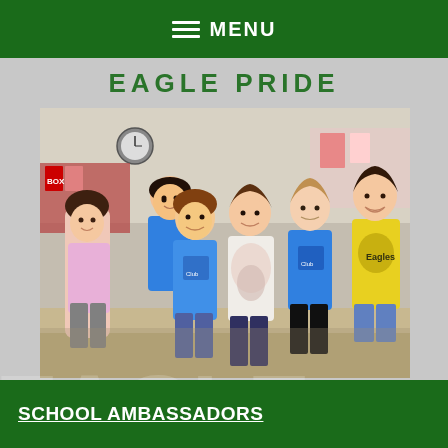MENU
EAGLE PRIDE
[Figure (photo): Group photo of six elementary school students standing together in a classroom/library setting. Students are wearing various colored shirts including blue Leadership Club t-shirts, a pink shirt, a tie-dye shirt, and a yellow Eagles shirt.]
SCHOOL AMBASSADORS